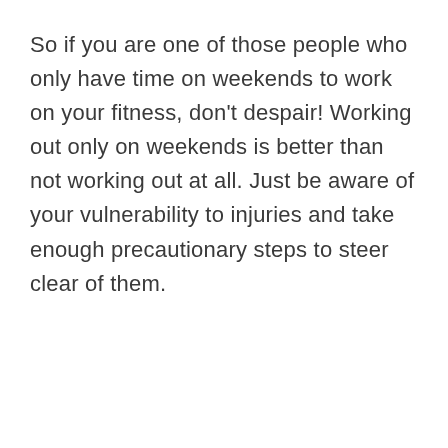So if you are one of those people who only have time on weekends to work on your fitness, don't despair! Working out only on weekends is better than not working out at all. Just be aware of your vulnerability to injuries and take enough precautionary steps to steer clear of them.